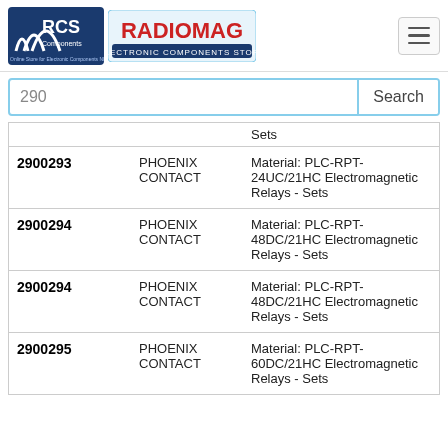[Figure (logo): RCS Components and RadioMag Electronic Components Store logos in header navigation bar with hamburger menu icon]
290 Search
| ID | Brand | Description |
| --- | --- | --- |
|  |  | Sets |
| 2900293 | PHOENIX CONTACT | Material: PLC-RPT-24UC/21HC Electromagnetic Relays - Sets |
| 2900294 | PHOENIX CONTACT | Material: PLC-RPT-48DC/21HC Electromagnetic Relays - Sets |
| 2900294 | PHOENIX CONTACT | Material: PLC-RPT-48DC/21HC Electromagnetic Relays - Sets |
| 2900295 | PHOENIX CONTACT | Material: PLC-RPT-60DC/21HC Electromagnetic Relays - Sets |